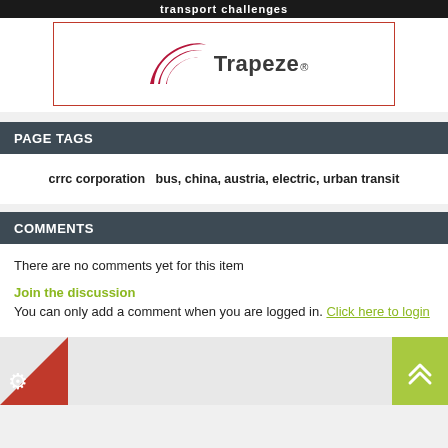[Figure (logo): Trapeze company logo with red swoosh marks and 'Trapeze®' text in dark gray]
PAGE TAGS
crrc corporation  bus, china, austria, electric, urban transit
COMMENTS
There are no comments yet for this item
Join the discussion
You can only add a comment when you are logged in. Click here to login